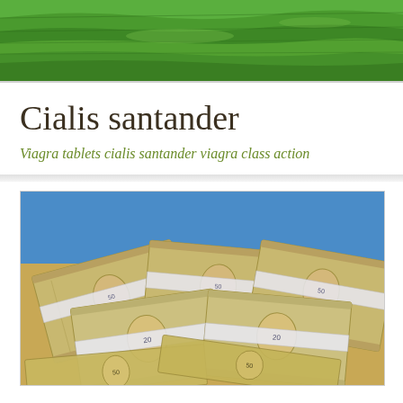[Figure (photo): Aerial view of green terraced fields/farmland landscape]
Cialis santander
Viagra tablets cialis santander viagra class action
[Figure (photo): Stacks of US dollar bills ($50 and $20 notes) bundled with white bands, against a blue background]